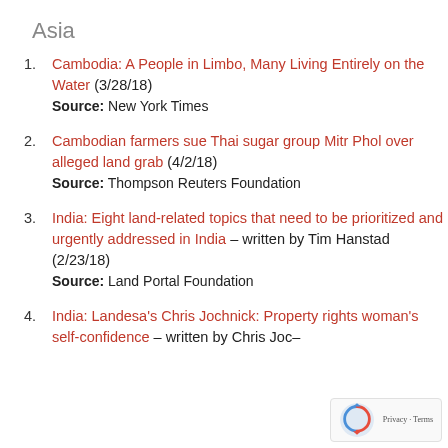Asia
Cambodia: A People in Limbo, Many Living Entirely on the Water (3/28/18)
Source: New York Times
Cambodian farmers sue Thai sugar group Mitr Phol over alleged land grab (4/2/18)
Source: Thompson Reuters Foundation
India: Eight land-related topics that need to be prioritized and urgently addressed in India – written by Tim Hanstad (2/23/18)
Source: Land Portal Foundation
India: Landesa's Chris Jochnick: Property rights woman's self-confidence – written by Chris Joc...